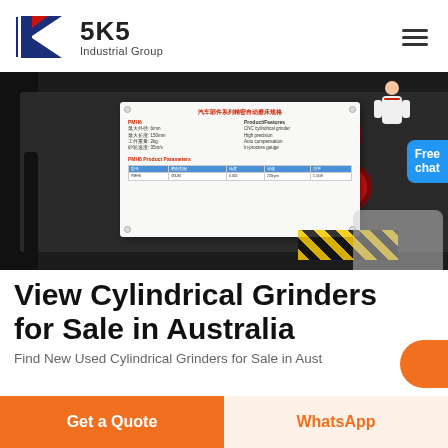[Figure (logo): SKS Industrial Group logo with red and blue K lettermark and bold SKS text]
[Figure (photo): Industrial cylindrical grinder machine with a specification plate showing parameters, set against a dark workshop background with red grinding wheels and yellow-black caution tape. A customer service avatar in white coat appears at top right with a blue 'Free chat' badge.]
View Cylindrical Grinders for Sale in Australia
Find New Used Cylindrical Grinders for Sale in Aust...
Get a Quote
WhatsApp